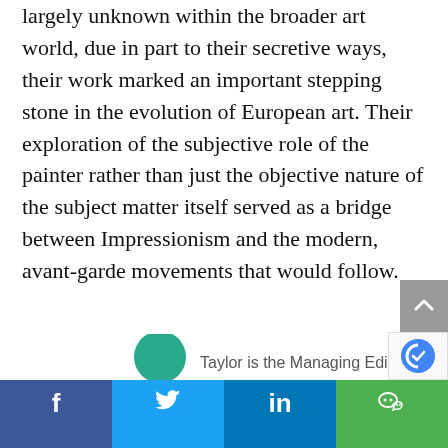largely unknown within the broader art world, due in part to their secretive ways, their work marked an important stepping stone in the evolution of European art. Their exploration of the subjective role of the painter rather than just the objective nature of the subject matter itself served as a bridge between Impressionism and the modern, avant-garde movements that would follow.
Taylor is the Managing Editor o...